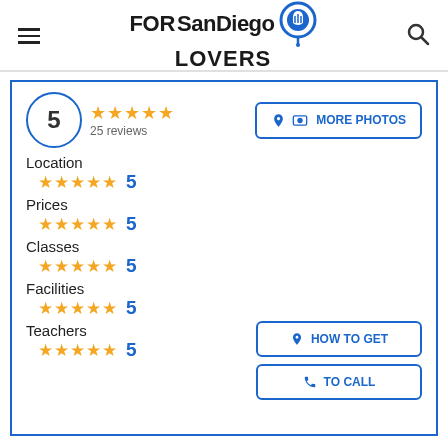FORSanDiego LOVERS
5
25 reviews
MORE PHOTOS
Location ★★★★★ 5
Prices ★★★★★ 5
Classes ★★★★★ 5
Facilities ★★★★★ 5
Teachers ★★★★★ 5
HOW TO GET
TO CALL